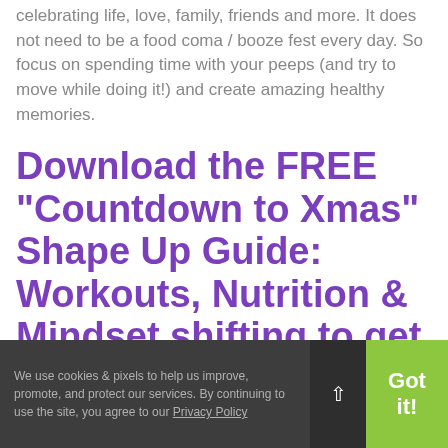celebrating life, love, family, friends and more. It does not need to be a food coma / booze fest every day. So focus on spending time with your peeps (and try to move while doing it!) and create amazing healthy memories.
Download the FREE “Countdown to Xmas” Shape Up Guide:  Workouts, Nutrition & Mindset shifting to get you heading into
We use cookies & pixels to help us improve, promote, and protect our services. By continuing to use the site, you agree to our Privacy Policy  Got it!